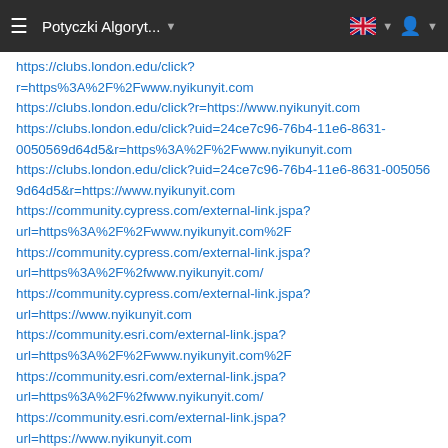Potyczki Algoryt...
https://clubs.london.edu/click?r=https%3A%2F%2Fwww.nyikunyit.com
https://clubs.london.edu/click?r=https://www.nyikunyit.com
https://clubs.london.edu/click?uid=24ce7c96-76b4-11e6-8631-0050569d64d5&r=https%3A%2F%2Fwww.nyikunyit.com
https://clubs.london.edu/click?uid=24ce7c96-76b4-11e6-8631-0050569d64d5&r=https://www.nyikunyit.com
https://community.cypress.com/external-link.jspa?url=https%3A%2F%2Fwww.nyikunyit.com%2F
https://community.cypress.com/external-link.jspa?url=https%3A%2F%2fwww.nyikunyit.com/
https://community.cypress.com/external-link.jspa?url=https://www.nyikunyit.com
https://community.esri.com/external-link.jspa?url=https%3A%2F%2Fwww.nyikunyit.com%2F
https://community.esri.com/external-link.jspa?url=https%3A%2F%2fwww.nyikunyit.com/
https://community.esri.com/external-link.jspa?url=https://www.nyikunyit.com